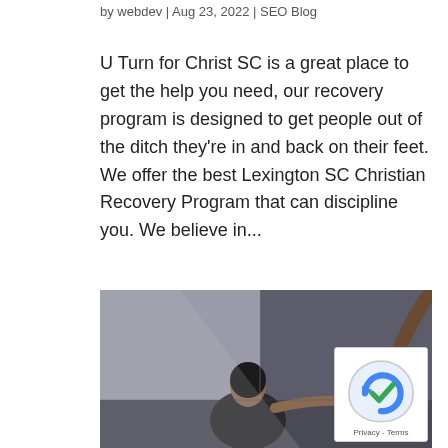by webdev | Aug 23, 2022 | SEO Blog
U Turn for Christ SC is a great place to get the help you need, our recovery program is designed to get people out of the ditch they're in and back on their feet. We offer the best Lexington SC Christian Recovery Program that can discipline you. We believe in...
[Figure (photo): A woman reaching out her hand toward another extended hand coming from the upper right, in a dark studio background setting suggesting someone seeking help.]